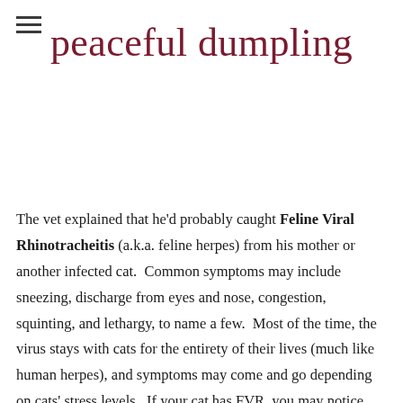peaceful dumpling
The vet explained that he'd probably caught Feline Viral Rhinotracheitis (a.k.a. feline herpes) from his mother or another infected cat.  Common symptoms may include sneezing, discharge from eyes and nose, congestion, squinting, and lethargy, to name a few.  Most of the time, the virus stays with cats for the entirety of their lives (much like human herpes), and symptoms may come and go depending on cats' stress levels.  If your cat has FVR, you may notice that any change in your cat's